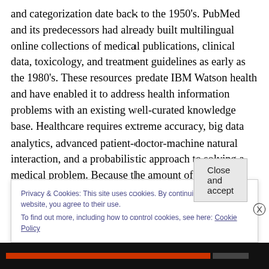and categorization date back to the 1950's. PubMed and its predecessors had already built multilingual online collections of medical publications, clinical data, toxicology, and treatment guidelines as early as the 1980's. These resources predate IBM Watson health and have enabled it to address health information problems with an existing well-curated knowledge base. Healthcare requires extreme accuracy, big data analytics, advanced patient-doctor-machine natural interaction, and a probabilistic approach to solving a medical problem. Because the amount of possibly relevant information is
Privacy & Cookies: This site uses cookies. By continuing to use this website, you agree to their use.
To find out more, including how to control cookies, see here: Cookie Policy
Close and accept